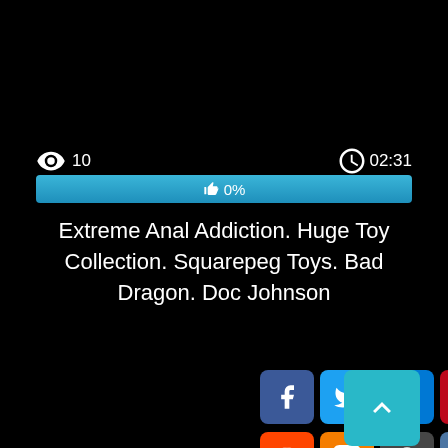👁 10   🕐 02:31
[Figure (infographic): Progress bar showing 0% with thumbs up icon]
Extreme Anal Addiction. Huge Toy Collection. Squarepeg Toys. Bad Dragon. Doc Johnson
[Figure (infographic): Social sharing buttons: Facebook, Twitter, Email, Pinterest, Tumblr (row 1); Reddit, Blogger, WordPress, VK, Share (row 2); Back-to-top button]